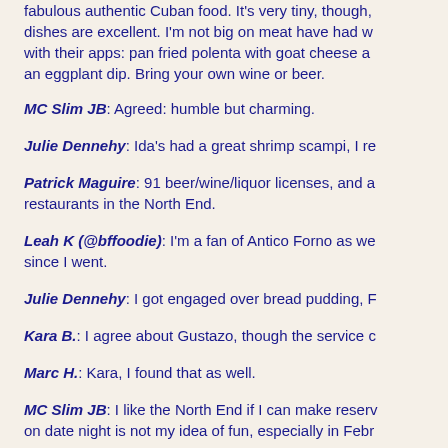fabulous authentic Cuban food. It's very tiny, though, dishes are excellent. I'm not big on meat have had w with their apps: pan fried polenta with goat cheese a an eggplant dip. Bring your own wine or beer.
MC Slim JB: Agreed: humble but charming.
Julie Dennehy: Ida's had a great shrimp scampi, I re
Patrick Maguire: 91 beer/wine/liquor licenses, and a restaurants in the North End.
Leah K (@bffoodie): I'm a fan of Antico Forno as we since I went.
Julie Dennehy: I got engaged over bread pudding, F
Kara B.: I agree about Gustazo, though the service c
Marc H.: Kara, I found that as well.
MC Slim JB: I like the North End if I can make reserv on date night is not my idea of fun, especially in Febr
RichardA: Julie, Chef Iocco makes one of the best
Leah K (@bffoodie): I really liked Lone Star Taco Ba that for Valentine's Day.